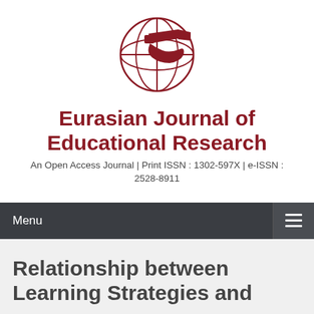[Figure (logo): Eurasian Journal of Educational Research globe logo with dark red telescope/flag graphic overlaid on a circular globe grid]
Eurasian Journal of Educational Research
An Open Access Journal | Print ISSN : 1302-597X | e-ISSN : 2528-8911
Menu
Relationship between Learning Strategies and